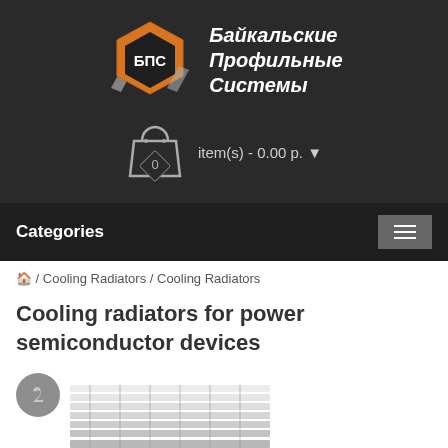[Figure (logo): BPS hexagon logo with orange/dark colors and Cyrillic text Байкальские Профильные Системы]
item(s) - 0.00 р. ▼
Categories
🏠 / Cooling Radiators / Cooling Radiators
Cooling radiators for power semiconductor devices
[Figure (photo): Cooling radiator product image with a round badge icon, showing stacked fin heat sink radiator]